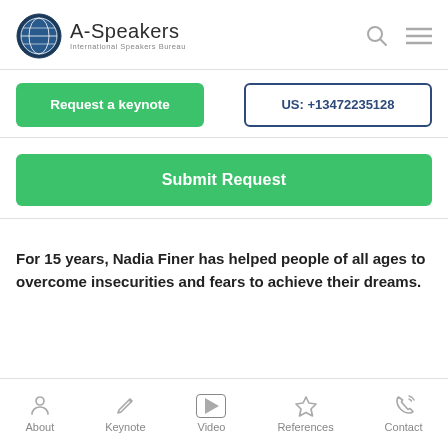A-Speakers International Speakers Bureau
Request a keynote
US: +13472235128
Submit Request
For 15 years, Nadia Finer has helped people of all ages to overcome insecurities and fears to achieve their dreams.
About | Keynote | Video | References | Contact